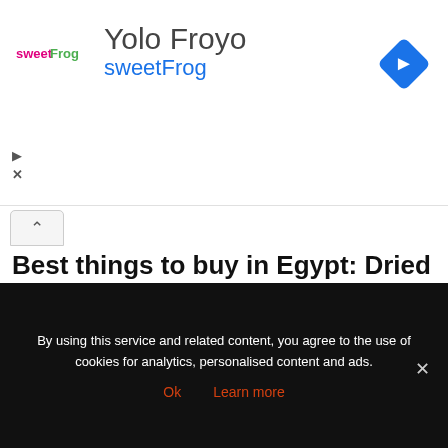[Figure (screenshot): Advertisement banner for Yolo Froyo sweetFrog with logo and navigation icon]
Best things to buy in Egypt: Dried food
[Figure (photo): Colorful dried spices and foods displayed in piles at a market, with yellow price tags reading ZERESK 50c and YABAN MERSINI CRANBERRY 40c]
By using this service and related content, you agree to the use of cookies for analytics, personalised content and ads.
Ok  Learn more